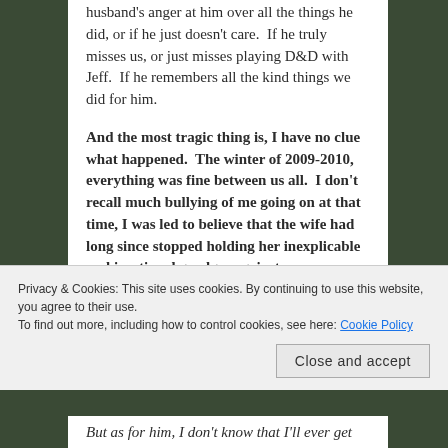husband's anger at him over all the things he did, or if he just doesn't care. If he truly misses us, or just misses playing D&D with Jeff. If he remembers all the kind things we did for him.
And the most tragic thing is, I have no clue what happened. The winter of 2009-2010, everything was fine between us all. I don't recall much bullying of me going on at that time, I was led to believe that the wife had long since stopped holding her inexplicable and irrational grudges against
Privacy & Cookies: This site uses cookies. By continuing to use this website, you agree to their use.
To find out more, including how to control cookies, see here: Cookie Policy
But as for him, I don't know that I'll ever get